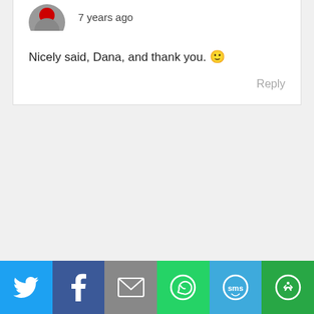[Figure (photo): Partial avatar of first commenter (top, cropped)]
7 years ago
Nicely said, Dana, and thank you. 🙂
Reply
[Figure (photo): Avatar of commenter roamy, circular profile image with green hair/leaves]
roamy
7 years ago
Hello
Thanks for a wonderful post.
[Figure (infographic): Social share bar with Twitter (blue), Facebook (dark blue), Email (grey), WhatsApp (green), SMS (light blue), More (green) buttons]